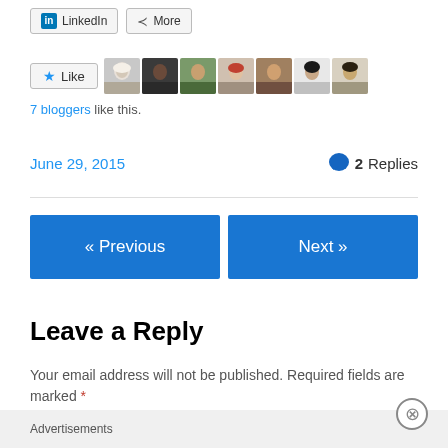[Figure (screenshot): LinkedIn and More share buttons]
[Figure (screenshot): Like button with 7 blogger avatars]
7 bloggers like this.
June 29, 2015   2 Replies
[Figure (screenshot): Previous and Next navigation buttons]
Leave a Reply
Your email address will not be published. Required fields are marked *
Comment *
Advertisements